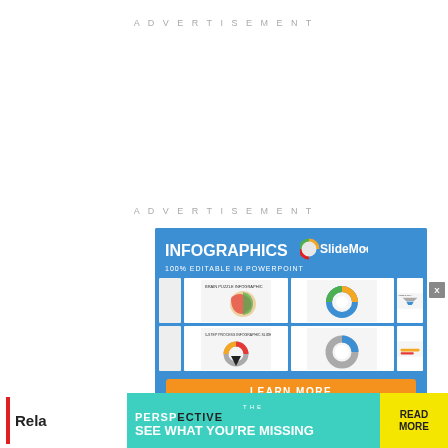ADVERTISEMENT
ADVERTISEMENT
[Figure (infographic): SlideModel infographics advertisement banner with 'INFOGRAPHICS 100% EDITABLE IN POWERPOINT' heading and slide thumbnails grid, orange LEARN MORE button]
[Figure (infographic): Bottom advertisement banner: THE PERSPECTIVE - SEE WHAT YOU'RE MISSING with READ MORE button]